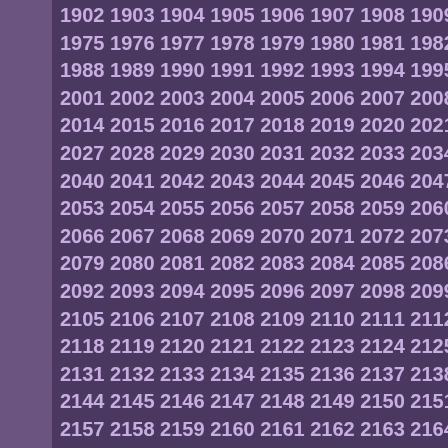1902 1903 1904 1905 1906 1907 1908 1909 1910 1911 1912 1973 1...
1975 1976 1977 1978 1979 1980 1981 1982 1983 1984 1985 1986 1...
1988 1989 1990 1991 1992 1993 1994 1995 1996 1997 1998 1999 2...
2001 2002 2003 2004 2005 2006 2007 2008 2009 2010 2011 2012 2...
2014 2015 2016 2017 2018 2019 2020 2021 2022 2023 2024 2025 2...
2027 2028 2029 2030 2031 2032 2033 2034 2035 2036 2037 2038 2...
2040 2041 2042 2043 2044 2045 2046 2047 2048 2049 2050 2051 2...
2053 2054 2055 2056 2057 2058 2059 2060 2061 2062 2063 2064 2...
2066 2067 2068 2069 2070 2071 2072 2073 2074 2075 2076 2077 2...
2079 2080 2081 2082 2083 2084 2085 2086 2087 2088 2089 2090 2...
2092 2093 2094 2095 2096 2097 2098 2099 2100 2101 2102 2103 2...
2105 2106 2107 2108 2109 2110 2111 2112 2113 2114 2115 2116 2...
2118 2119 2120 2121 2122 2123 2124 2125 2126 2127 2128 2129 2...
2131 2132 2133 2134 2135 2136 2137 2138 2139 2140 2141 2142 2...
2144 2145 2146 2147 2148 2149 2150 2151 2152 2153 2154 2155 2...
2157 2158 2159 2160 2161 2162 2163 2164 2165 2166 2167 2168 2...
2170 2171 2172 2173 2174 2175 2176 2177 2178 2179 2180 2181 2...
2183 2184 2185 2186 2187 2188 2189 2190 2191 2192 2193 2194 2...
2196 2197 2198 2199 2200 2201 2202 2203 2204 2205 2206 2207 2...